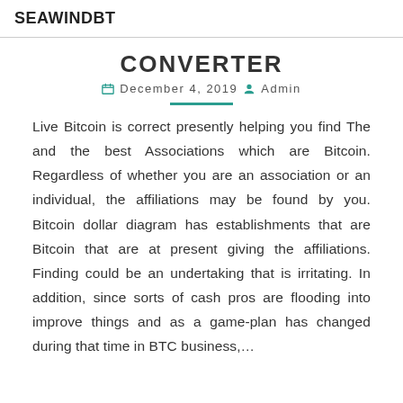SEAWINDBT
CONVERTER
December 4, 2019  Admin
Live Bitcoin is correct presently helping you find The and the best Associations which are Bitcoin. Regardless of whether you are an association or an individual, the affiliations may be found by you. Bitcoin dollar diagram has establishments that are Bitcoin that are at present giving the affiliations. Finding could be an undertaking that is irritating. In addition, since sorts of cash pros are flooding into improve things and as a game-plan has changed during that time in BTC business,...